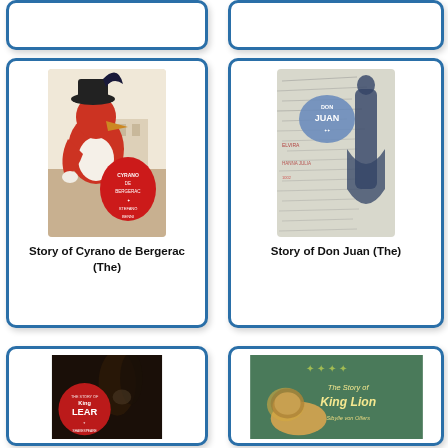[Figure (illustration): Partial book card top row left - truncated at top]
[Figure (illustration): Partial book card top row right - truncated at top]
[Figure (illustration): Book cover: Story of Cyrano de Bergerac (The) - illustrated cover with bird-like character in hat]
Story of Cyrano de Bergerac (The)
[Figure (illustration): Book cover: Story of Don Juan (The) - illustrated cover with figure and handwriting background]
Story of Don Juan (The)
[Figure (illustration): Book cover: King Lear - dark cover with red circular badge]
[Figure (illustration): Book cover: The Story of King Lion by Sibylle von Olfers - green cover with lion illustration]